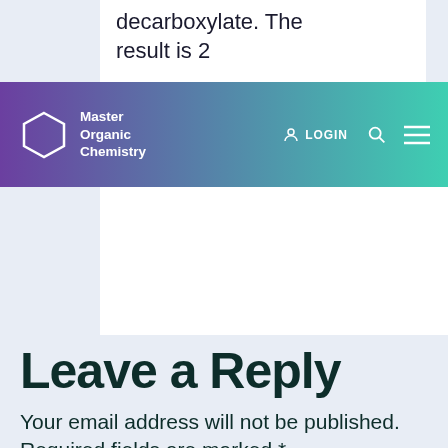decarboxylate. The result is 2
Master Organic Chemistry  LOGIN
Leave a Reply
Your email address will not be published. Required fields are marked *
Comment *